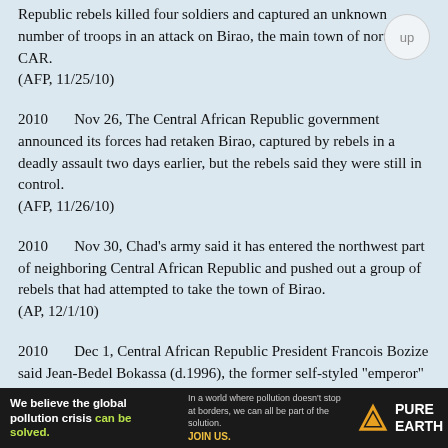Republic rebels killed four soldiers and captured an unknown number of troops in an attack on Birao, the main town of northern CAR.
    (AFP, 11/25/10)
2010    Nov 26, The Central African Republic government announced its forces had retaken Birao, captured by rebels in a deadly assault two days earlier, but the rebels said they were still in control.
    (AFP, 11/26/10)
2010    Nov 30, Chad's army said it has entered the northwest part of neighboring Central African Republic and pushed out a group of rebels that had attempted to take the town of Birao.
    (AP, 12/1/10)
2010    Dec 1, Central African Republic President Francois Bozize said Jean-Bedel Bokassa (d.1996), the former self-styled "emperor" who was overthrown in 1979, is
[Figure (other): Advertisement banner for Pure Earth: 'We believe the global pollution crisis can be solved.' with Pure Earth logo]